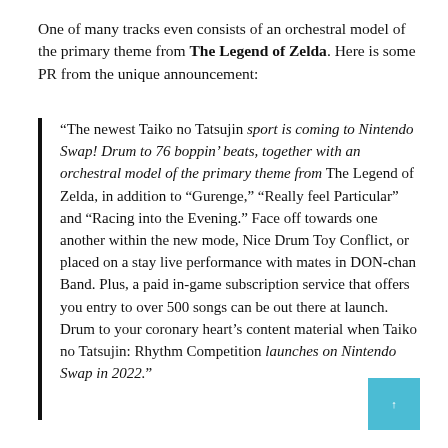One of many tracks even consists of an orchestral model of the primary theme from The Legend of Zelda. Here is some PR from the unique announcement:
“The newest Taiko no Tatsujin sport is coming to Nintendo Swap! Drum to 76 boppin’ beats, together with an orchestral model of the primary theme from The Legend of Zelda, in addition to “Gurenge,” “Really feel Particular” and “Racing into the Evening.” Face off towards one another within the new mode, Nice Drum Toy Conflict, or placed on a stay live performance with mates in DON-chan Band. Plus, a paid in-game subscription service that offers you entry to over 500 songs can be out there at launch. Drum to your coronary heart’s content material when Taiko no Tatsujin: Rhythm Competition launches on Nintendo Swap in 2022.”